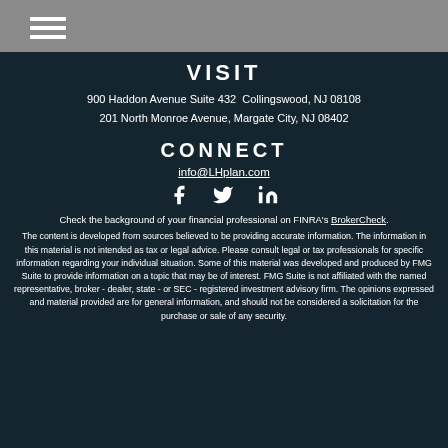VISIT
900 Haddon Avenue Suite 432  Collingswood, NJ 08108
201 North Monroe Avenue, Margate City, NJ 08402
CONNECT
info@LHplan.com
[Figure (illustration): Social media icons: Facebook, Twitter, LinkedIn]
Check the background of your financial professional on FINRA's BrokerCheck.
The content is developed from sources believed to be providing accurate information. The information in this material is not intended as tax or legal advice. Please consult legal or tax professionals for specific information regarding your individual situation. Some of this material was developed and produced by FMG Suite to provide information on a topic that may be of interest. FMG Suite is not affiliated with the named representative, broker - dealer, state - or SEC - registered investment advisory firm. The opinions expressed and material provided are for general information, and should not be considered a solicitation for the purchase or sale of any security.